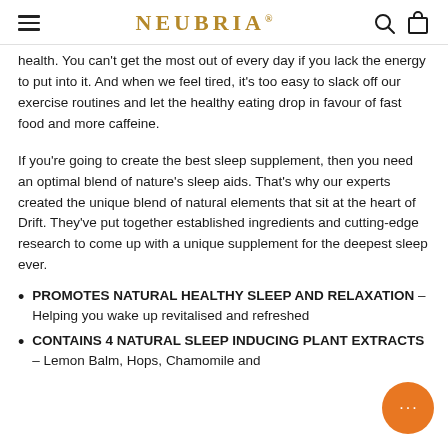NEUBRIA
health. You can't get the most out of every day if you lack the energy to put into it. And when we feel tired, it's too easy to slack off our exercise routines and let the healthy eating drop in favour of fast food and more caffeine.
If you're going to create the best sleep supplement, then you need an optimal blend of nature's sleep aids. That's why our experts created the unique blend of natural elements that sit at the heart of Drift. They've put together established ingredients and cutting-edge research to come up with a unique supplement for the deepest sleep ever.
PROMOTES NATURAL HEALTHY SLEEP AND RELAXATION – Helping you wake up revitalised and refreshed
CONTAINS 4 NATURAL SLEEP INDUCING PLANT EXTRACTS – Lemon Balm, Hops, Chamomile and